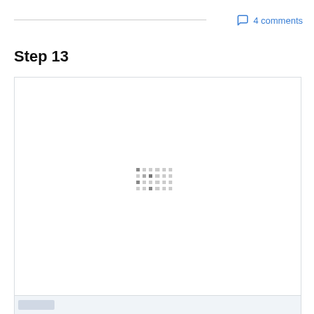4 comments
Step 13
[Figure (screenshot): Large white image area with a loading spinner (grid of small squares) centered in the box, indicating an image is loading. Below the image box is a light blue-gray toolbar strip.]